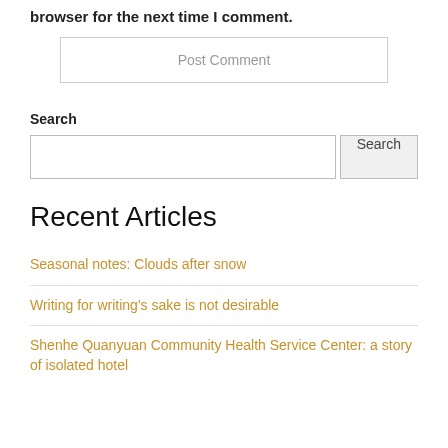browser for the next time I comment.
Post Comment
Search
Recent Articles
Seasonal notes: Clouds after snow
Writing for writing's sake is not desirable
Shenhe Quanyuan Community Health Service Center: a story of isolated hotel